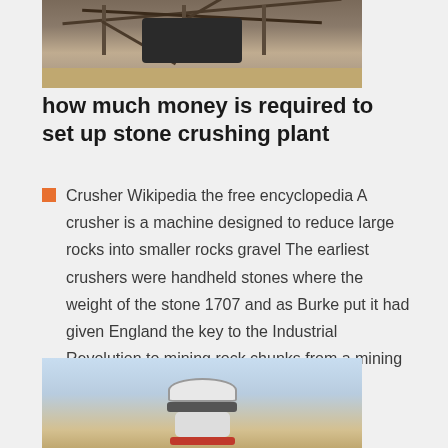[Figure (photo): Construction site with wooden scaffolding and heavy machinery on sandy/dirt ground]
how much money is required to set up stone crushing plant
Crusher Wikipedia the free encyclopedia A crusher is a machine designed to reduce large rocks into smaller rocks gravel The earliest crushers were handheld stones where the weight of the stone 1707 and as Burke put it had given England the key to the Industrial Revolution to mining rock chunks from a mining face became much larger and the blast
[Figure (photo): A cone crusher machine photographed against a light sky background with sandy ground visible]